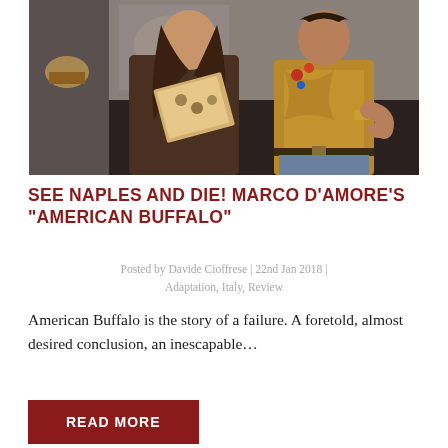[Figure (photo): Two men in a dimly lit room. One man with long hair is examining an open book. The second man wearing a patterned shirt with badges stands to the right.]
SEE NAPLES AND DIE! MARCO D'AMORE'S "AMERICAN BUFFALO"
Posted by Davide Cioffrese | 22nd Jan 2018 | Adaptation, Italy, Review
American Buffalo is the story of a failure. A foretold, almost desired conclusion, an inescapable...
READ MORE